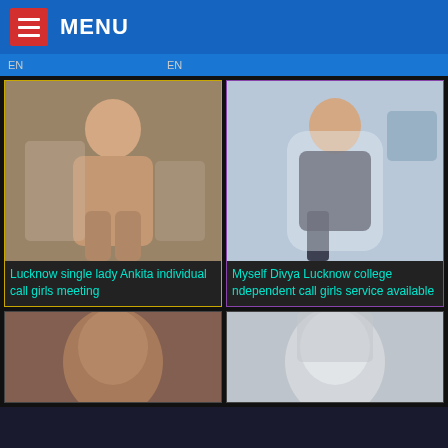≡ MENU
EN   EN
[Figure (photo): Photo placeholder for Lucknow single lady Ankita – woman in lingerie standing in bedroom]
[Figure (photo): Photo placeholder for Myself Divya Lucknow college – woman in dark outfit sitting on white sofa]
Lucknow single lady Ankita individual call girls meeting
Myself Divya Lucknow college ndependent call girls service available
[Figure (photo): Bottom-left thumbnail – close-up of woman's face]
[Figure (photo): Bottom-right thumbnail – woman with light-colored hair]